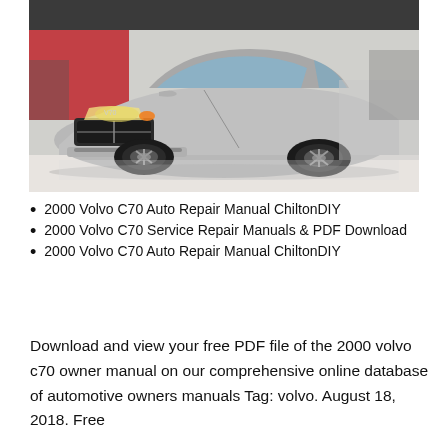[Figure (photo): Silver Volvo V70 car photographed from the front-left angle in a showroom or exhibition setting with a red wall in the background.]
2000 Volvo C70 Auto Repair Manual ChiltonDIY
2000 Volvo C70 Service Repair Manuals & PDF Download
2000 Volvo C70 Auto Repair Manual ChiltonDIY
Download and view your free PDF file of the 2000 volvo c70 owner manual on our comprehensive online database of automotive owners manuals Tag: volvo. August 18, 2018. Free